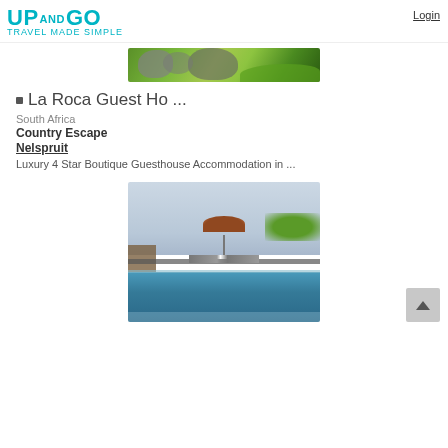UP AND GO
Login
[Figure (photo): Green rocky landscape banner image]
La Roca Guest Ho ...
South Africa
Country Escape
Nelspruit
Luxury 4 Star Boutique Guesthouse Accommodation in ...
[Figure (photo): Outdoor swimming pool with umbrella and lounge chairs, overlooking green landscape under overcast sky]